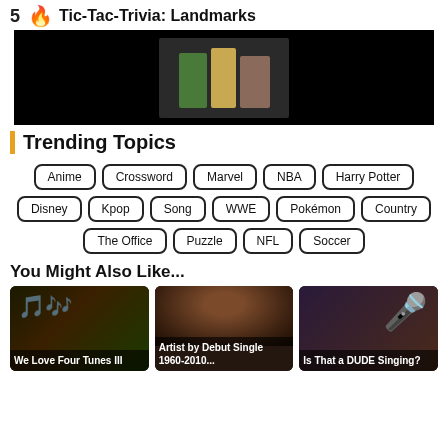5 🔥 Tic-Tac-Trivia: Landmarks
[Figure (photo): Thumbnail image for Tic-Tac-Trivia: Landmarks showing people on dark background]
Trending Topics
Anime
Crossword
Marvel
NBA
Harry Potter
Disney
Kpop
Song
WWE
Pokémon
Country
The Office
Puzzle
NFL
Soccer
You Might Also Like...
[Figure (photo): Music notes on dark colorful background - We Love Four Tunes III]
[Figure (photo): Woman with curly hair - Artist by Debut Single 1960-2010...]
[Figure (photo): Microphone on dark background - Is That a DUDE Singing?]